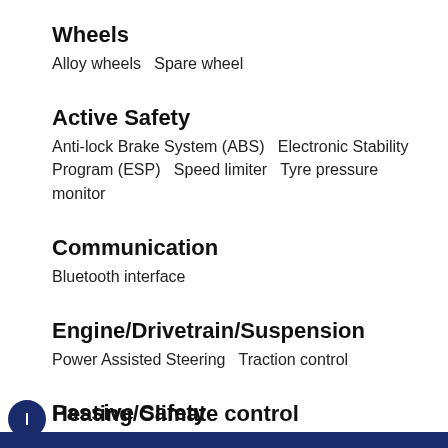Wheels
Alloy wheels   Spare wheel
Active Safety
Anti-lock Brake System (ABS)   Electronic Stability Program (ESP)   Speed limiter   Tyre pressure monitor
Communication
Bluetooth interface
Engine/Drivetrain/Suspension
Power Assisted Steering   Traction control
Heating/Climate control
Air conditioning
Passive Safety